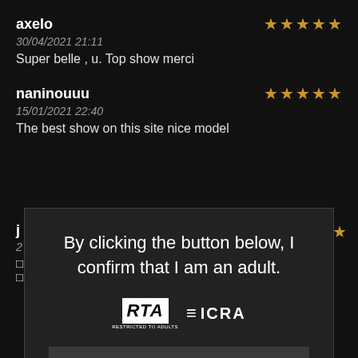axelo
30/04/2021 21:11
Super belle , u. Top show merci
naninouuu
15/01/2021 22:40
The best show on this site nice model
By clicking the button below, I confirm that I am an adult.
[Figure (logo): RTA and ICRA logos side by side]
Enter hairy.cam